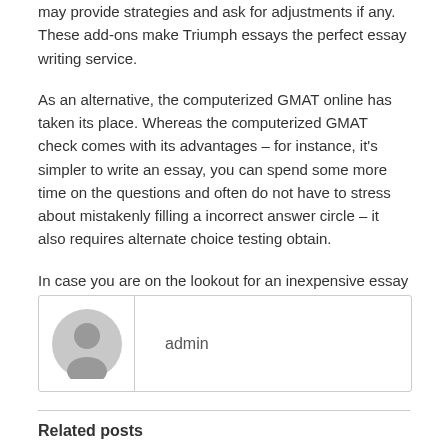may provide strategies and ask for adjustments if any. These add-ons make Triumph essays the perfect essay writing service.
As an alternative, the computerized GMAT online has taken its place. Whereas the computerized GMAT check comes with its advantages – for instance, it's simpler to write an essay, you can spend some more time on the questions and often do not have to stress about mistakenly filling a incorrect answer circle – it also requires alternate choice testing obtain.
In case you are on the lookout for an inexpensive essay writing service, then look no additional. Here you will get the best paper and it is going to be written based mostly on your particular tips. Thus, you'll have no bother succeeding at a price that you can afford.
[Figure (illustration): Author avatar placeholder - grey circular silhouette of a person]
admin
Related posts